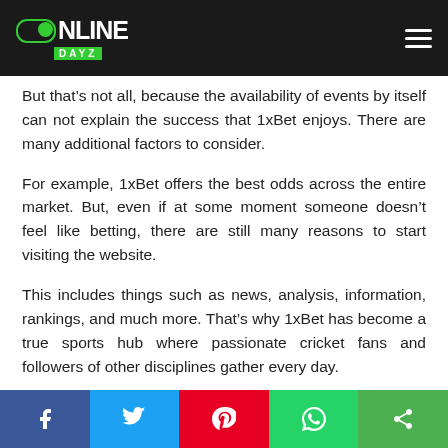ONLINE DAYZ
But that’s not all, because the availability of events by itself can not explain the success that 1xBet enjoys. There are many additional factors to consider.
For example, 1xBet offers the best odds across the entire market. But, even if at some moment someone doesn’t feel like betting, there are still many reasons to start visiting the website.
This includes things such as news, analysis, information, rankings, and much more. That’s why 1xBet has become a true sports hub where passionate cricket fans and followers of other disciplines gather every day.
Also Read: Elon Musk changes his tune on bitcoin mining
Social share buttons: Facebook, Twitter, Pinterest, WhatsApp, Share